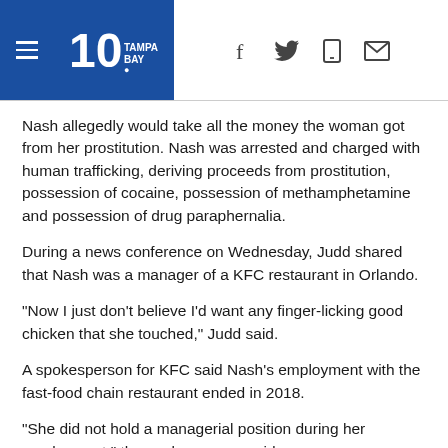10 Tampa Bay — navigation header with logo and social icons
Nash allegedly would take all the money the woman got from her prostitution. Nash was arrested and charged with human trafficking, deriving proceeds from prostitution, possession of cocaine, possession of methamphetamine and possession of drug paraphernalia.
During a news conference on Wednesday, Judd shared that Nash was a manager of a KFC restaurant in Orlando.
"Now I just don't believe I'd want any finger-licking good chicken that she touched," Judd said.
A spokesperson for KFC said Nash's employment with the fast-food chain restaurant ended in 2018.
"She did not hold a managerial position during her employment," the spokesperson said.